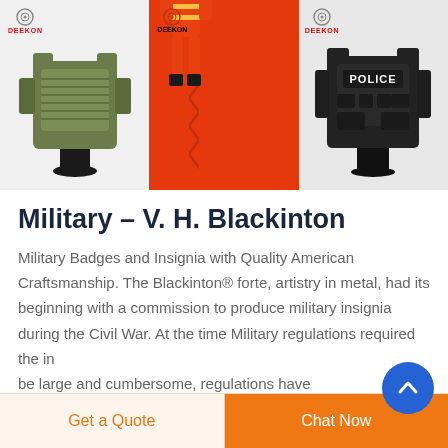[Figure (photo): Three product images side by side: (1) olive/green military plate carrier vest on a mannequin with DEEKON logo, (2) orange/red fabric with zigzag seam and orange firefighter figure with DEEKON logo, (3) black police tactical vest/armor on a mannequin with DEEKON logo]
Military – V. H. Blackinton
Military Badges and Insignia with Quality American Craftsmanship. The Blackinton® forte, artistry in metal, had its beginning with a commission to produce military insignia during the Civil War. At the time Military regulations required the insignia be large and cumbersome, regulations have
Get a Quote   Chat Now